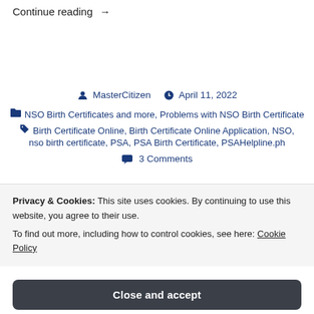Continue reading →
MasterCitizen   April 11, 2022
NSO Birth Certificates and more, Problems with NSO Birth Certificate
Birth Certificate Online, Birth Certificate Online Application, NSO, nso birth certificate, PSA, PSA Birth Certificate, PSAHelpline.ph
3 Comments
Privacy & Cookies: This site uses cookies. By continuing to use this website, you agree to their use.
To find out more, including how to control cookies, see here: Cookie Policy
Close and accept
on his fingers. It is his guide to his identity such as the facts of his birth